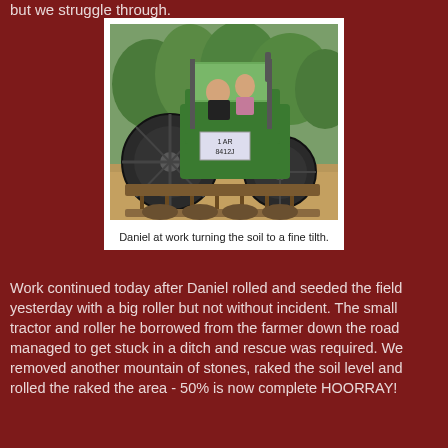but we struggle through.
[Figure (photo): A green John Deere tractor with a soil tilling/harrowing attachment being operated by a person, with another person visible on the tractor. The tractor is working in a field with trees in the background. License plate reads 1 AR 8412J.]
Daniel at work turning the soil to a fine tilth.
Work continued today after Daniel rolled and seeded the field yesterday with a big roller but not without incident. The small tractor and roller he borrowed from the farmer down the road managed to get stuck in a ditch and rescue was required. We removed another mountain of stones, raked the soil level and rolled the raked the area - 50% is now complete HOORRAY!